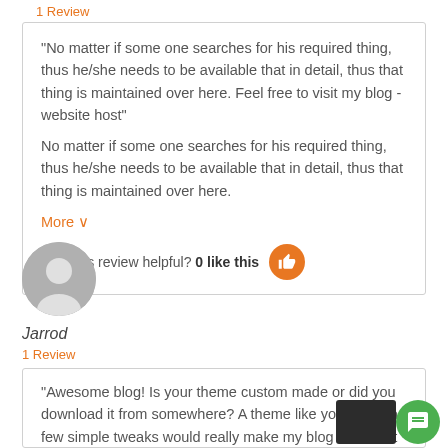1 Review
"No matter if some one searches for his required thing, thus he/she needs to be available that in detail, thus that thing is maintained over here. Feel free to visit my blog - website host"
No matter if some one searches for his required thing, thus he/she needs to be available that in detail, thus that thing is maintained over here.
More ∨
Was this review helpful? 0 like this
[Figure (illustration): Grey circular avatar placeholder icon]
Jarrod
1 Review
"Awesome blog! Is your theme custom made or did you download it from somewhere? A theme like yours with a few simple tweaks would really make my blog stand out